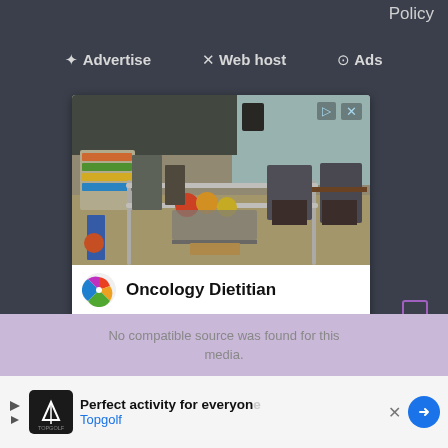Policy
✦ Advertise  ✕ Web host  ⊙ Ads
[Figure (photo): Advertisement for Oncology Dietitian. Shows a physical therapy/rehabilitation room with parallel bars, exercise equipment, and colorful balls. Logo: multi-colored pinwheel. Business: Oncology Rehab and Wellness Res.. Location: Ashburn 9AM–5:30PM]
report this ad
No compatible source was found for this media.
[Figure (photo): Bottom advertisement: Perfect activity for everyone - Topgolf. Shows Topgolf logo and a navigation arrow button.]